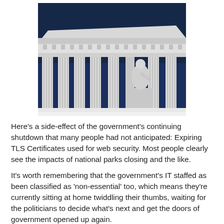[Figure (photo): Upward-angle photograph of a neoclassical government building (Supreme Court) with large white columns, ornate cornice, and a marble statue visible between the columns against a deep blue sky.]
Here's a side-effect of the government's continuing shutdown that many people had not anticipated: Expiring TLS Certificates used for web security. Most people clearly see the impacts of national parks closing and the like.
It's worth remembering that the government's IT staffed as been classified as 'non-essential' too, which means they're currently sitting at home twiddling their thumbs, waiting for the politicians to decide what's next and get the doors of government opened up again.
Unfortunately, that's beginning to have an impact on the